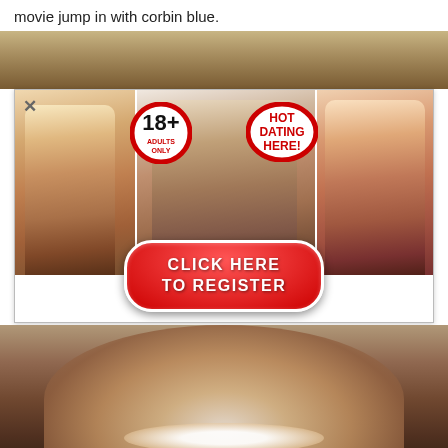movie jump in with corbin blue.
[Figure (photo): Top partial photo background showing hair/face in warm brown tones]
[Figure (photo): Adult dating advertisement banner featuring three women in lingerie/swimwear, 18+ adults only badge, HOT DATING HERE badge, and a red CLICK HERE TO REGISTER button]
[Figure (photo): Bottom photo showing a smiling woman with dark hair, close-up face shot]